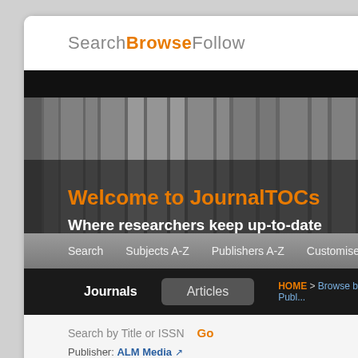Search Browse Follow
[Figure (screenshot): JournalTOCs website hero banner showing blurred journal spines background with text 'Welcome to JournalTOCs' and 'Where researchers keep up-to-date']
Welcome to JournalTOCs
Where researchers keep up-to-date
Search   Subjects A-Z   Publishers A-Z   Customise   API
Journals   Articles   HOME > Browse by Publisher
Search by Title or ISSN   Go
Publisher: ALM Media
Showing 1 - 2 of 2 Journals
New York Law J.